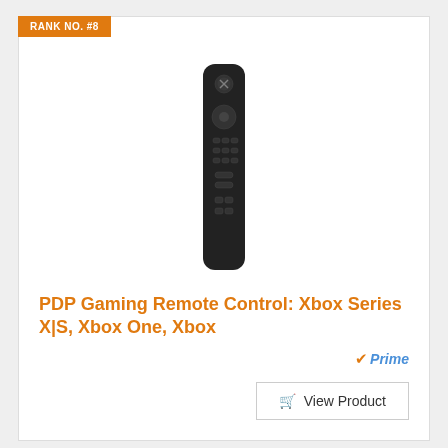RANK NO. #8
[Figure (photo): Black Xbox media remote control, tall and slim with Xbox logo at top, circular d-pad, and various media control buttons]
PDP Gaming Remote Control: Xbox Series X|S, Xbox One, Xbox
Prime
View Product
RANK NO. #9